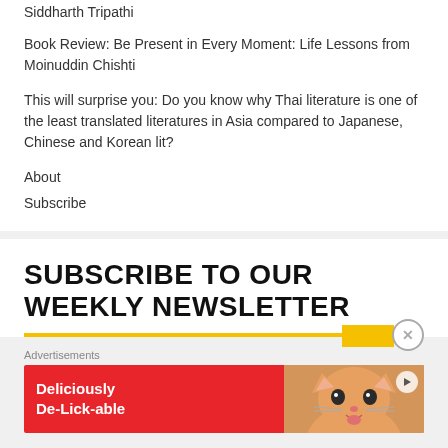Siddharth Tripathi
Book Review: Be Present in Every Moment: Life Lessons from Moinuddin Chishti
This will surprise you: Do you know why Thai literature is one of the least translated literatures in Asia compared to Japanese, Chinese and Korean lit?
About
Subscribe
SUBSCRIBE TO OUR WEEKLY NEWSLETTER
[Figure (other): Advertisement banner with red background showing 'Deliciously De-Lick-able' text and a cat image]